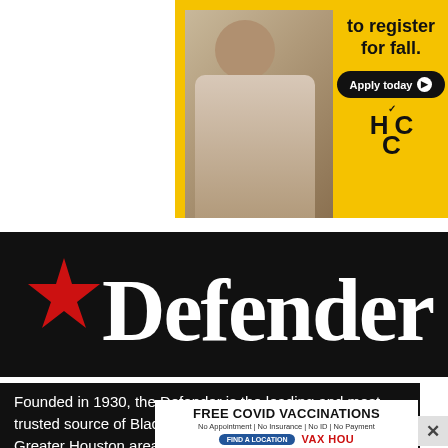[Figure (illustration): HCC advertisement with yellow background showing a young person in a patterned shirt, text 'to register for fall.' with 'Apply today' button and HCC logo]
[Figure (logo): Defender logo on black background with red star and white bold serif wordmark 'Defender']
Founded in 1930, the Defender is the leading and most trusted source of Black news and information in the Greater Houston area on multiple platforms: web, social
[Figure (infographic): FREE COVID VACCINATIONS ad - No Appointment | No Insurance | No ID | No Payment - FIND A LOCATION - VAX HOU]